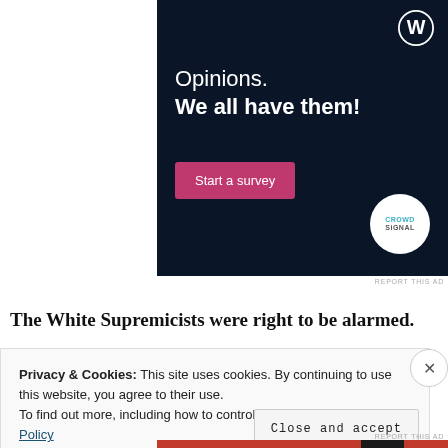[Figure (screenshot): Advertisement banner with dark navy background. Shows WordPress logo (W in circle) top right. Text reads 'Opinions. We all have them!' with a pink 'Start a survey' button and Crowdsignal logo circle bottom right.]
REPORT THIS AD
The White Supremicists were right to be alarmed.
Privacy & Cookies: This site uses cookies. By continuing to use this website, you agree to their use.
To find out more, including how to control cookies, see here: Cookie Policy
Close and accept